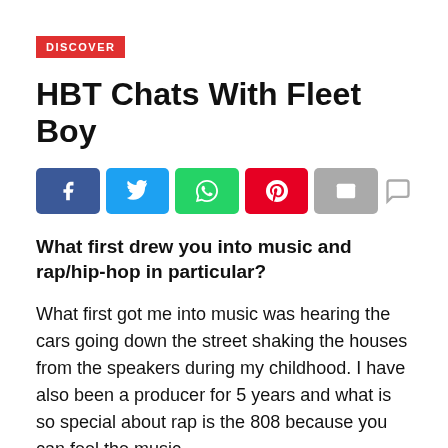DISCOVER
HBT Chats With Fleet Boy
[Figure (infographic): Social sharing buttons: Facebook (blue), Twitter (light blue), WhatsApp (green), Pinterest (red), Email (gray), and a comment bubble icon on the right]
What first drew you into music and rap/hip-hop in particular?
What first got me into music was hearing the cars going down the street shaking the houses from the speakers during my childhood. I have also been a producer for 5 years and what is so special about rap is the 808 because you can feel the music.
Your latest album “Karma” is a master piece!